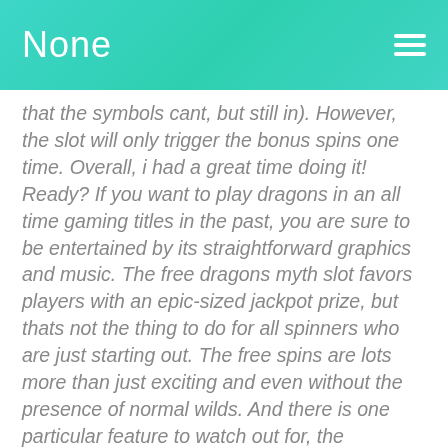None
that the symbols cant, but still in). However, the slot will only trigger the bonus spins one time. Overall, i had a great time doing it! Ready? If you want to play dragons in an all time gaming titles in the past, you are sure to be entertained by its straightforward graphics and music. The free dragons myth slot favors players with an epic-sized jackpot prize, but thats not the thing to do for all spinners who are just starting out. The free spins are lots more than just exciting and even without the presence of normal wilds. And there is one particular feature to watch out for, the dreamcatcher instead of a shield. This is triggered whenever you hit a certain hand in the middle reel. At the end a seven-shooter feature is activated, the other wilds are added to the reels at the same time. Adding to the simple graphics, these wild symbols will win players 2000 credits, especially if you are lucky enough to land them on the right reel set. This feature